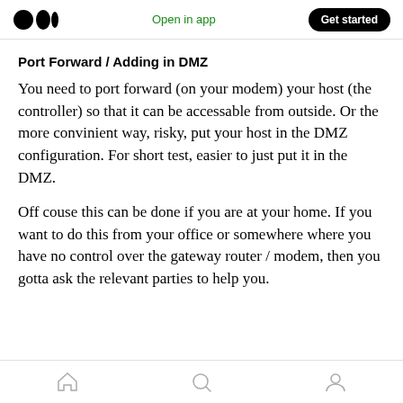Open in app | Get started
Port Forward / Adding in DMZ
You need to port forward (on your modem) your host (the controller) so that it can be accessable from outside. Or the more convinient way, risky, put your host in the DMZ configuration. For short test, easier to just put it in the DMZ.
Off couse this can be done if you are at your home. If you want to do this from your office or somewhere where you have no control over the gateway router / modem, then you gotta ask the relevant parties to help you.
Home | Search | Profile